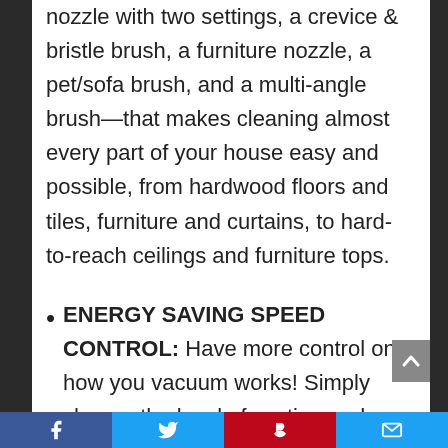nozzle with two settings, a crevice & bristle brush, a furniture nozzle, a pet/sofa brush, and a multi-angle brush—that makes cleaning almost every part of your house easy and possible, from hardwood floors and tiles, furniture and curtains, to hard-to-reach ceilings and furniture tops.
ENERGY SAVING SPEED CONTROL: Have more control on how you vacuum works! Simply choose the level of suction and regulate how much power you use. You can use the minimum suction setting for collecting dust without disturbing
Facebook | Twitter | Pinterest | Email